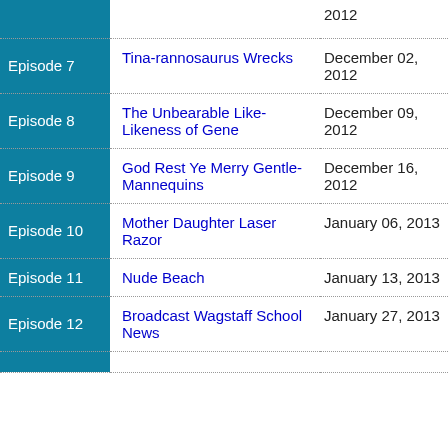| Episode | Title | Air Date |
| --- | --- | --- |
|  |  | 2012 |
| Episode 7 | Tina-rannosaurus Wrecks | December 02, 2012 |
| Episode 8 | The Unbearable Like-Likeness of Gene | December 09, 2012 |
| Episode 9 | God Rest Ye Merry Gentle-Mannequins | December 16, 2012 |
| Episode 10 | Mother Daughter Laser Razor | January 06, 2013 |
| Episode 11 | Nude Beach | January 13, 2013 |
| Episode 12 | Broadcast Wagstaff School News | January 27, 2013 |